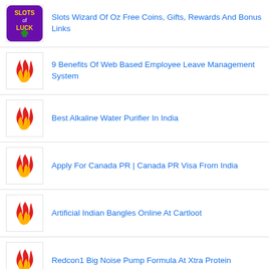Slots Wizard Of Oz Free Coins, Gifts, Rewards And Bonus Links
9 Benefits Of Web Based Employee Leave Management System
Best Alkaline Water Purifier In India
Apply For Canada PR | Canada PR Visa From India
Artificial Indian Bangles Online At Cartloot
Redcon1 Big Noise Pump Formula At Xtra Protein